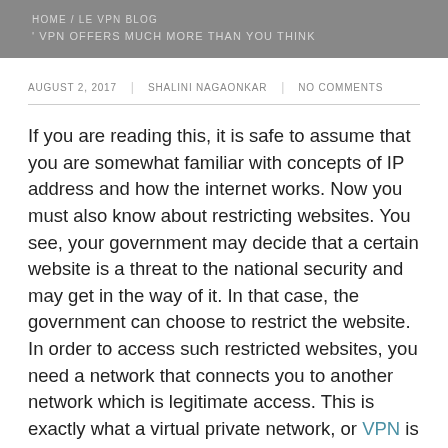HOME / LE VPN BLOG / VPN OFFERS MUCH MORE THAN YOU THINK
AUGUST 2, 2017 | SHALINI NAGAONKAR | NO COMMENTS
If you are reading this, it is safe to assume that you are somewhat familiar with concepts of IP address and how the internet works. Now you must also know about restricting websites. You see, your government may decide that a certain website is a threat to the national security and may get in the way of it. In that case, the government can choose to restrict the website. In order to access such restricted websites, you need a network that connects you to another network which is legitimate access. This is exactly what a virtual private network, or VPN is all about. In case you were wondering what is VPN